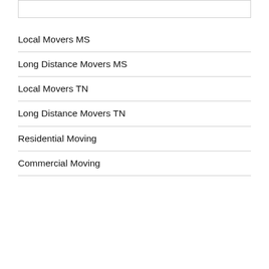Local Movers MS
Long Distance Movers MS
Local Movers TN
Long Distance Movers TN
Residential Moving
Commercial Moving